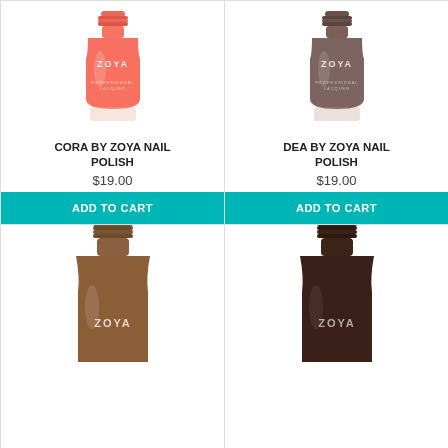[Figure (photo): Zoya coral/orange nail polish bottle labeled CORA, professional lacquer]
CORA BY ZOYA NAIL POLISH
$19.00
ADD TO CART
[Figure (photo): Zoya dark taupe/brown nail polish bottle labeled DEA, professional lacquer]
DEA BY ZOYA NAIL POLISH
$19.00
ADD TO CART
[Figure (photo): Zoya medium brown nail polish bottle, partially visible, labeled ZOYA]
[Figure (photo): Zoya very dark brown/black nail polish bottle, partially visible, labeled ZOYA]